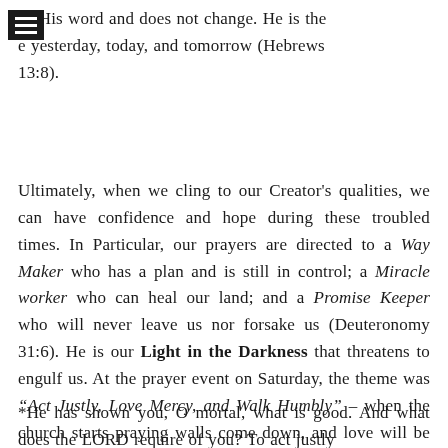ps His word and does not change. He is the e yesterday, today, and tomorrow (Hebrews 13:8).
Ultimately, when we cling to our Creator's qualities, we can have confidence and hope during these troubled times. In Particular, our prayers are directed to a Way Maker who has a plan and is still in control; a Miracle worker who can heal our land; and a Promise Keeper who will never leave us nor forsake us (Deuteronomy 31:6). He is our Light in the Darkness that threatens to engulf us. At the prayer event on Saturday, the theme was “Act Justly, Love Mercy, and Walk Humbly” – when the church starts praying walls come down, and love will be victorious over evil.
*He has shown you, O mortal, what is good. And what does the LORD require of you? To act justly